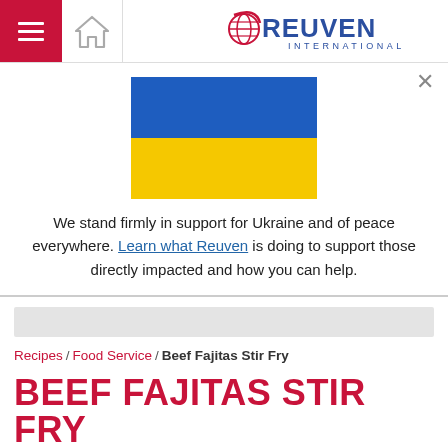Reuven International — site header with hamburger menu, home icon, and logo
[Figure (illustration): Ukraine flag — top half blue, bottom half yellow]
We stand firmly in support for Ukraine and of peace everywhere. Learn what Reuven is doing to support those directly impacted and how you can help.
[Figure (other): Gray navigation/search bar]
Recipes / Food Service / Beef Fajitas Stir Fry
BEEF FAJITAS STIR FRY